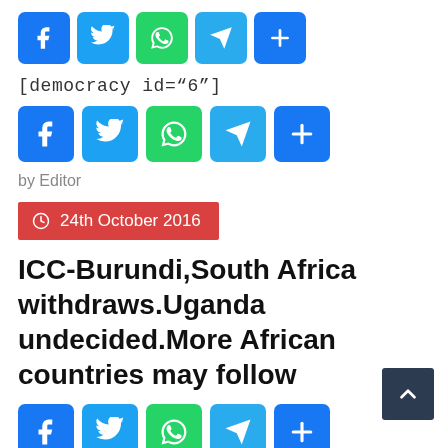[Figure (other): Social share buttons row: Facebook, Twitter, WhatsApp, Telegram, Share (plus sign)]
[democracy id="6"]
[Figure (other): Social share buttons row (larger): Facebook, Twitter, WhatsApp, Telegram, Share (plus sign)]
by Editor
24th October 2016
ICC-Burundi,South Africa withdraws.Uganda undecided.More African countries may follow
[Figure (other): Social share buttons row (larger): Facebook, Twitter, WhatsApp, Telegram, Share (plus sign)]
South Africa has become the second African